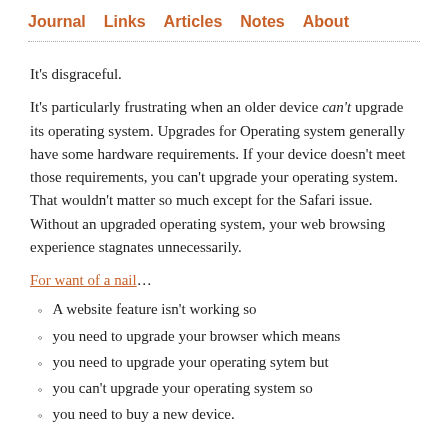Journal   Links   Articles   Notes   About
It's disgraceful.
It's particularly frustrating when an older device can't upgrade its operating system. Upgrades for Operating system generally have some hardware requirements. If your device doesn't meet those requirements, you can't upgrade your operating system. That wouldn't matter so much except for the Safari issue. Without an upgraded operating system, your web browsing experience stagnates unnecessarily.
For want of a nail…
A website feature isn't working so
you need to upgrade your browser which means
you need to upgrade your operating sytem but
you can't upgrade your operating system so
you need to buy a new device.